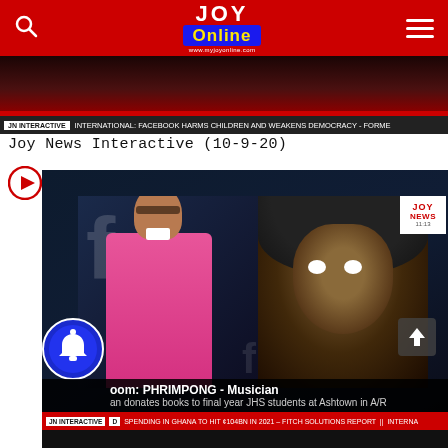JOY Online — navigation header with search, logo, and menu
[Figure (screenshot): Top portion of a TV news broadcast showing a dark background with a red banner and news ticker reading: JN INTERACTIVE | INTERNATIONAL: FACEBOOK HARMS CHILDREN AND WEAKENS DEMOCRACY - FORME]
Joy News Interactive (10-9-20)
[Figure (screenshot): Joy News Interactive TV broadcast screenshot showing female anchor in pink top on left with Facebook logo backdrop, and male interviewee (Phrimpong, Musician) on right wearing black hoodie. Lower third reads: oom: PHRIMPONG - Musician | an donates books to final year JHS students at Ashtown in A/R. Bottom ticker: JN INTERACTIVE D SPENDING IN GHANA TO HIT ¢104BN IN 2021 – FITCH SOLUTIONS REPORT || INTERNA. Bell notification icon bottom left, JOY NEWS logo top right.]